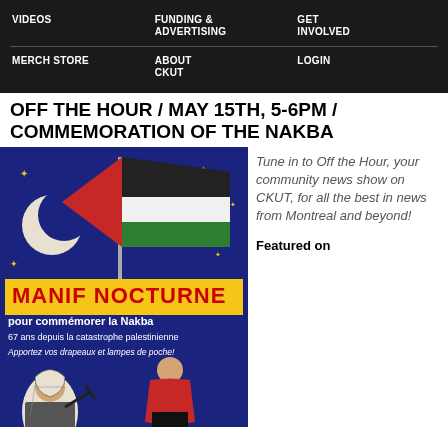VIDEOS | FUNDING & ADVERTISING | GET INVOLVED | MERCH STORE | ABOUT CKUT | LOGIN
OFF THE HOUR / MAY 15TH, 5-6PM / COMMEMORATION OF THE NAKBA
[Figure (illustration): Event poster for Manif Nocturne pour commémorer la Nakba. Dark blue background with Palestinian flag, crescent moon, stars, and illustrated figures. Text: MANIF NOCTURNE pour commémorer la Nakba, 67 ans depuis la catastrophe palestinienne, Apportez vos drapeaux et lampes de poche!]
Tune in to Off the Hour, your community news show on CKUT, for all the best in news from Montreal and beyond!
Featured on